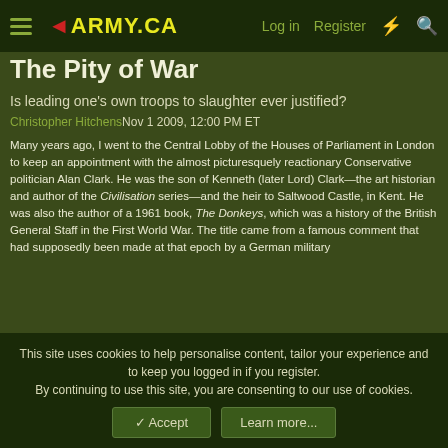ARMY.CA — Log in | Register
The Pity of War
Is leading one's own troops to slaughter ever justified?
Christopher HitchensNov 1 2009, 12:00 PM ET
Many years ago, I went to the Central Lobby of the Houses of Parliament in London to keep an appointment with the almost picturesquely reactionary Conservative politician Alan Clark. He was the son of Kenneth (later Lord) Clark—the art historian and author of the Civilisation series—and the heir to Saltwood Castle, in Kent. He was also the author of a 1961 book, The Donkeys, which was a history of the British General Staff in the First World War. The title came from a famous comment that had supposedly been made at that epoch by a German military
This site uses cookies to help personalise content, tailor your experience and to keep you logged in if you register.
By continuing to use this site, you are consenting to our use of cookies.